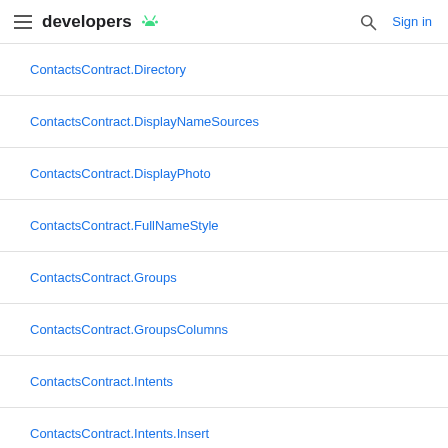developers
ContactsContract.Directory
ContactsContract.DisplayNameSources
ContactsContract.DisplayPhoto
ContactsContract.FullNameStyle
ContactsContract.Groups
ContactsContract.GroupsColumns
ContactsContract.Intents
ContactsContract.Intents.Insert